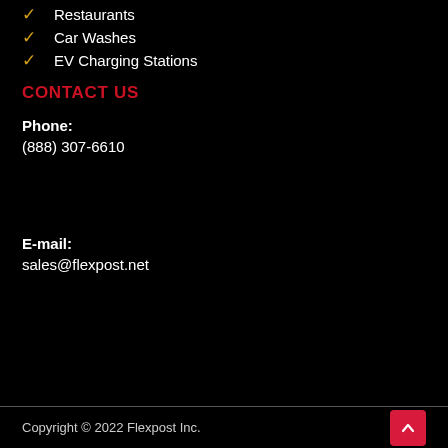Restaurants
Car Washes
EV Charging Stations
CONTACT US
Phone:
(888) 307-6610
E-mail:
sales@flexpost.net
Copyright © 2022 Flexpost Inc.